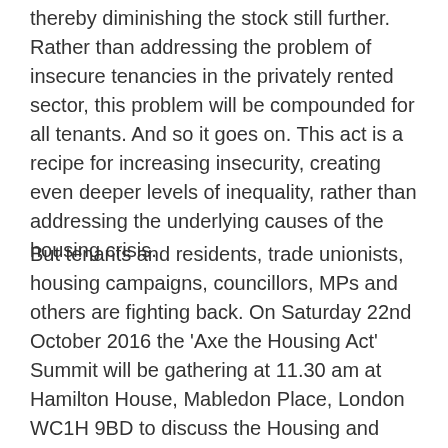thereby diminishing the stock still further. Rather than addressing the problem of insecure tenancies in the privately rented sector, this problem will be compounded for all tenants. And so it goes on. This act is a recipe for increasing insecurity, creating even deeper levels of inequality, rather than addressing the underlying causes of the housing crisis.
But tenants and residents, trade unionists, housing campaigns, councillors, MPs and others are fighting back. On Saturday 22nd October 2016 the 'Axe the Housing Act' Summit will be gathering at 11.30 am at Hamilton House, Mabledon Place, London WC1H 9BD to discuss the Housing and Planning act, why it's unfair, unworkable and destructive and how we can resist it. A big grassroots movement is already